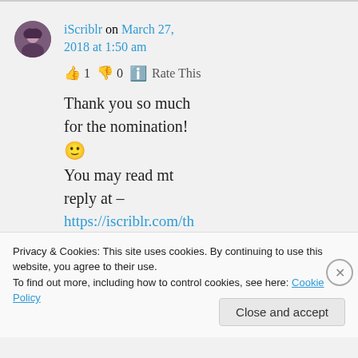iScriblr on March 27, 2018 at 1:50 am
👍 1 👎 0 ℹ️ Rate This
Thank you so much for the nomination! 🙂 You may read mt reply at –
Privacy & Cookies: This site uses cookies. By continuing to use this website, you agree to their use.
To find out more, including how to control cookies, see here: Cookie Policy
Close and accept